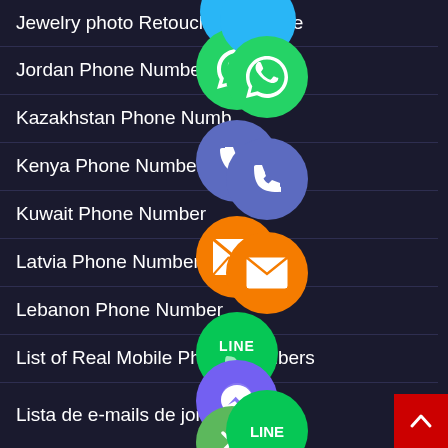Jewelry photo Retouching Service
Jordan Phone Number
Kazakhstan Phone Number
Kenya Phone Number List
Kuwait Phone Number
Latvia Phone Number
Lebanon Phone Number
List of Real Mobile Phone Numbers
Lista de e-mails de jornal...